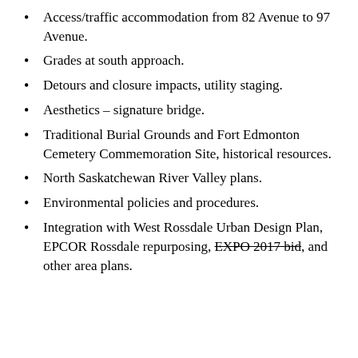Access/traffic accommodation from 82 Avenue to 97 Avenue.
Grades at south approach.
Detours and closure impacts, utility staging.
Aesthetics – signature bridge.
Traditional Burial Grounds and Fort Edmonton Cemetery Commemoration Site, historical resources.
North Saskatchewan River Valley plans.
Environmental policies and procedures.
Integration with West Rossdale Urban Design Plan, EPCOR Rossdale repurposing, EXPO 2017 bid, and other area plans.